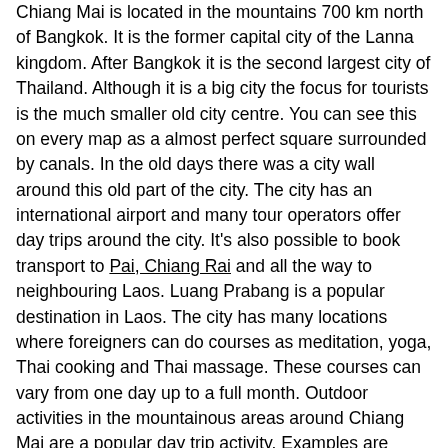Chiang Mai is located in the mountains 700 km north of Bangkok. It is the former capital city of the Lanna kingdom. After Bangkok it is the second largest city of Thailand. Although it is a big city the focus for tourists is the much smaller old city centre. You can see this on every map as a almost perfect square surrounded by canals. In the old days there was a city wall around this old part of the city. The city has an international airport and many tour operators offer day trips around the city. It's also possible to book transport to Pai, Chiang Rai and all the way to neighbouring Laos. Luang Prabang is a popular destination in Laos. The city has many locations where foreigners can do courses as meditation, yoga, Thai cooking and Thai massage. These courses can vary from one day up to a full month. Outdoor activities in the mountainous areas around Chiang Mai are a popular day trip activity. Examples are cooking on a farm, zip line circuits in the tree tops, quad bike riding and wild water rafting. Due to the mountains the temperatures in Chiang Mai and surrounding area are a little cooler than in Bangkok or in the south of the country. Especially in the dry and cool season between